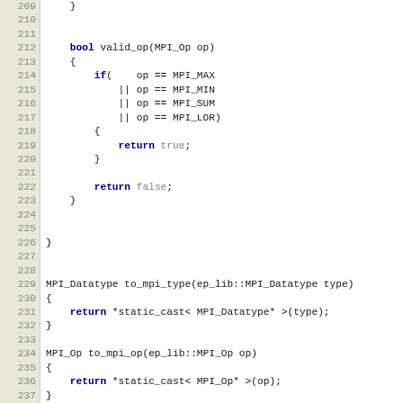[Figure (screenshot): Source code viewer showing C++ code lines 209-241, including functions valid_op(MPI_Op op), to_mpi_type, to_mpi_op, and to_mpi_comm with line numbers on the left gutter in a tan/beige background.]